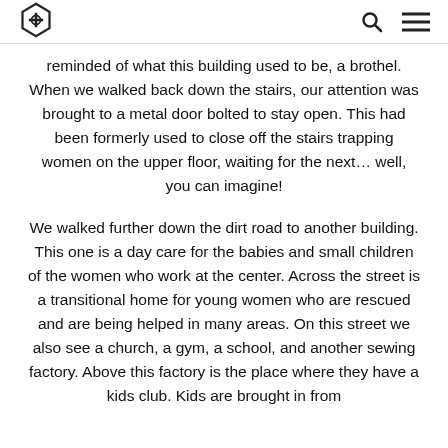[Logo] [Search icon] [Menu icon]
reminded of what this building used to be, a brothel. When we walked back down the stairs, our attention was brought to a metal door bolted to stay open. This had been formerly used to close off the stairs trapping women on the upper floor, waiting for the next... well, you can imagine!
We walked further down the dirt road to another building. This one is a day care for the babies and small children of the women who work at the center. Across the street is a transitional home for young women who are rescued and are being helped in many areas. On this street we also see a church, a gym, a school, and another sewing factory. Above this factory is the place where they have a kids club. Kids are brought in from